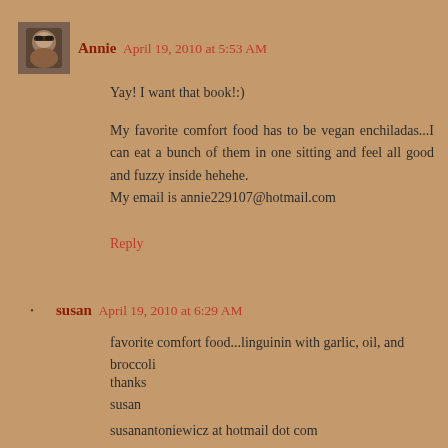[Figure (photo): Small avatar photo of Annie, showing a person with sunglasses]
Annie April 19, 2010 at 5:53 AM
Yay! I want that book!:)
My favorite comfort food has to be vegan enchiladas...I can eat a bunch of them in one sitting and feel all good and fuzzy inside hehehe.
My email is annie229107@hotmail.com
Reply
susan April 19, 2010 at 6:29 AM
favorite comfort food...linguinin with garlic, oil, and broccoli
thanks
susan
susanantoniewicz at hotmail dot com